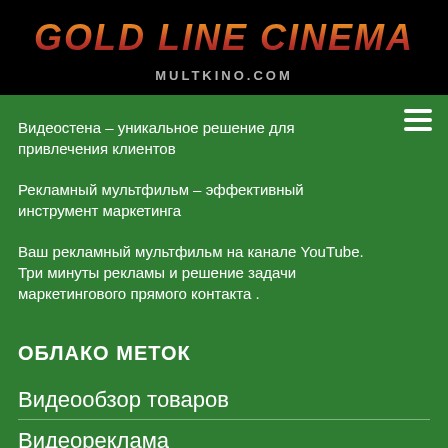GOLD LINE CINEMA
MULTKINO.COM
Видеостена – уникальное решение для привлечения клиентов
Рекламный мультфильм – эффективный инструмент маркетинга
Ваш рекламный мультфильм на канале YouTube. Три минуты рекламы и решение задачи маркетингового прямого контакта .
ОБЛАКО МЕТОК
Видеообзор товаров
Видеореклама
Внешняя оптимизация сайта.
Интернет видеопродажи